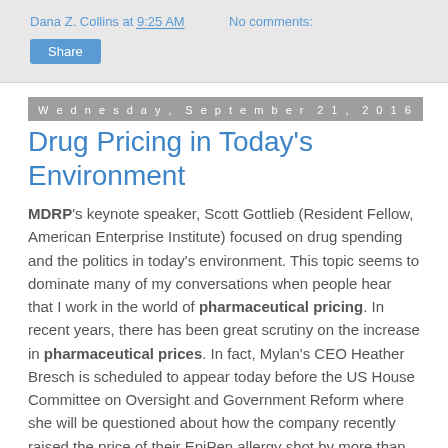Dana Z. Collins at 9:25 AM    No comments:
Share
Wednesday, September 21, 2016
Drug Pricing in Today's Environment
MDRP's keynote speaker, Scott Gottlieb (Resident Fellow, American Enterprise Institute) focused on drug spending and the politics in today's environment. This topic seems to dominate many of my conversations when people hear that I work in the world of pharmaceutical pricing. In recent years, there has been great scrutiny on the increase in pharmaceutical prices. In fact, Mylan's CEO Heather Bresch is scheduled to appear today before the US House Committee on Oversight and Government Reform where she will be questioned about how the company recently raised the price of their EpiPen allergy shot by more than 400%, from $57/shot in 2007 to $300/shot.